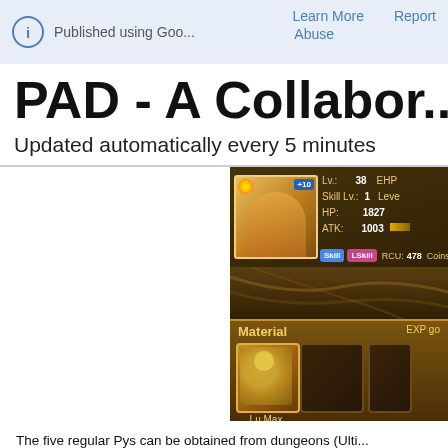Published using Goo...   Learn More   Report   Abuse
PAD - A Collabor...
Updated automatically every 5 minutes
[Figure (screenshot): Game screenshot showing a character stat panel with Lv: 38, Skill Lv: 1, HP: 1827, ATK: 1003, RCU: 478, EHP, Level, Coins labels, Skill and LSkill buttons, a Material panel with EXP go label and one item slot showing Lu.Max]
The five regular Pys can be obtained from dungeons (Ulti... dungeons, or as drops from certain events where they ha... keep in mind that Pys are tradable!
Rainbow Pys are rarer: they are available in event gift dur...